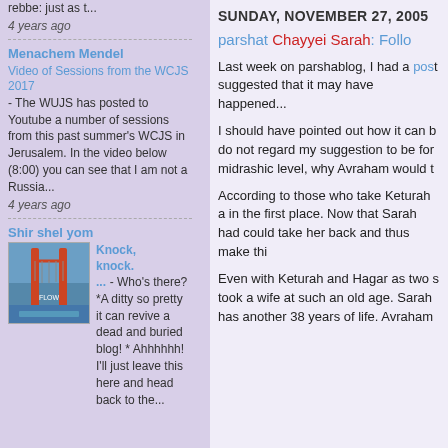rebbe: just as t...
4 years ago
Menachem Mendel
Video of Sessions from the WCJS 2017
- The WUJS has posted to Youtube a number of sessions from this past summer's WCJS in Jerusalem. In the video below (8:00) you can see that I am not a Russia...
4 years ago
Shir shel yom
[Figure (photo): Thumbnail image showing a bridge with red towers over water, album/book cover style]
Knock, knock. ... - Who's there? *A ditty so pretty it can revive a dead and buried blog! * Ahhhhhh! I'll just leave this here and head back to the...
SUNDAY, NOVEMBER 27, 2005
parshat Chayyei Sarah: Follo
Last week on parshablog, I had a post suggested that it may have happened...
I should have pointed out how it can b do not regard my suggestion to be for midrashic level, why Avraham would t
According to those who take Keturah a in the first place. Now that Sarah had could take her back and thus make thi
Even with Keturah and Hagar as two s took a wife at such an old age. Sarah has another 38 years of life. Avraham